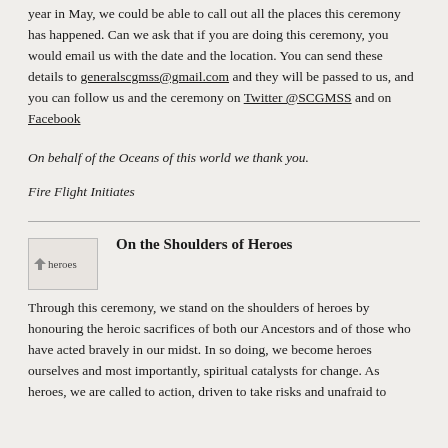year in May, we could be able to call out all the places this ceremony has happened. Can we ask that if you are doing this ceremony, you would email us with the date and the location. You can send these details to generalscgmss@gmail.com and they will be passed to us, and you can follow us and the ceremony on Twitter @SCGMSS and on Facebook
On behalf of the Oceans of this world we thank you.
Fire Flight Initiates
[Figure (illustration): Small thumbnail image labeled 'heroes']
On the Shoulders of Heroes
Through this ceremony, we stand on the shoulders of heroes by honouring the heroic sacrifices of both our Ancestors and of those who have acted bravely in our midst. In so doing, we become heroes ourselves and most importantly, spiritual catalysts for change. As heroes, we are called to action, driven to take risks and unafraid to